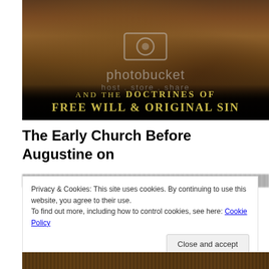[Figure (illustration): A painting of a bearded man (likely a scholar or church figure) at a desk with books, overlaid with photobucket watermark. Below the painting text reads: 'AND THE DOCTRINES OF FREE WILL & ORIGINAL SIN' in gold/yellow letters on dark background.]
The Early Church Before Augustine on
Privacy & Cookies: This site uses cookies. By continuing to use this website, you agree to their use.
To find out more, including how to control cookies, see here: Cookie Policy
[Figure (photo): Partial bottom strip showing another image, partially cut off at the bottom of the page.]